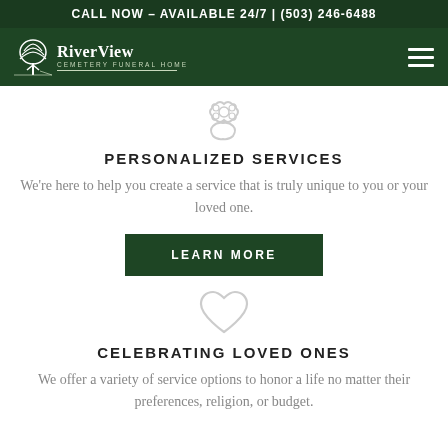CALL NOW – AVAILABLE 24/7 | (503) 246-6488
[Figure (logo): RiverView Cemetery Funeral Home logo with white tree icon and text]
[Figure (illustration): Decorative flower/puzzle icon in light gray outline]
PERSONALIZED SERVICES
We're here to help you create a service that is truly unique to you or your loved one.
LEARN MORE
[Figure (illustration): Heart icon in light gray outline]
CELEBRATING LOVED ONES
We offer a variety of service options to honor a life no matter their preferences, religion, or budget.